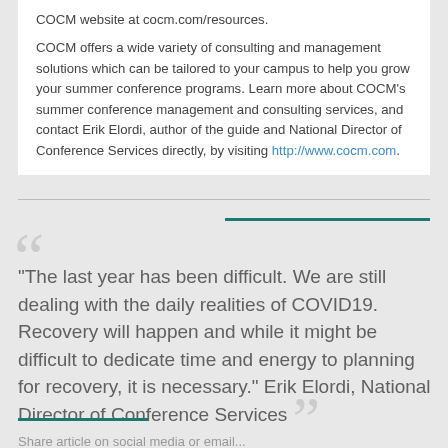COCM website at cocm.com/resources.
COCM offers a wide variety of consulting and management solutions which can be tailored to your campus to help you grow your summer conference programs. Learn more about COCM's summer conference management and consulting services, and contact Erik Elordi, author of the guide and National Director of Conference Services directly, by visiting http://www.cocm.com.
"The last year has been difficult. We are still dealing with the daily realities of COVID19. Recovery will happen and while it might be difficult to dedicate time and energy to planning for recovery, it is necessary." Erik Elordi, National Director of Conference Services
Share article on social media or email...